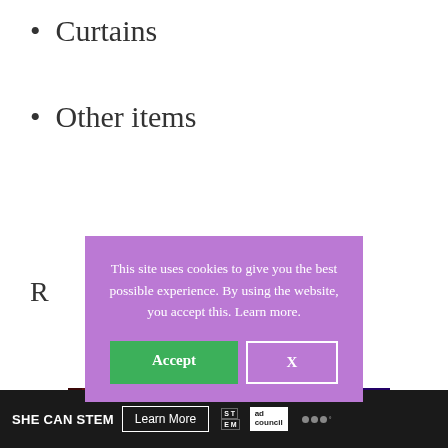Curtains
Other items
R
[Figure (photo): Colorful woven textile with zigzag patterns in red, orange, yellow, white, teal, and purple]
This site uses cookies to give you the best possible experience. By using the website, you accept this. Learn more.
[Figure (infographic): SHE CAN STEM advertisement bar with Learn More button, STEM logo, Ad Council logo, and dots logo]